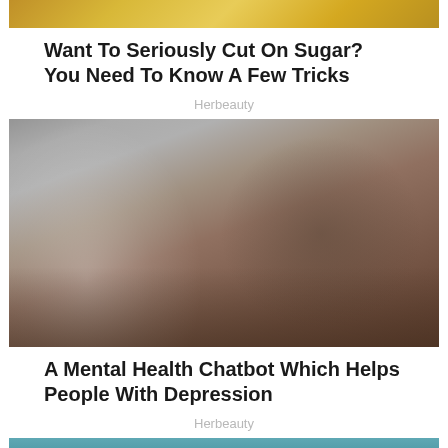[Figure (photo): Partial top of article image showing food item related to sugar, cropped at top]
Want To Seriously Cut On Sugar? You Need To Know A Few Tricks
Herbeauty
[Figure (photo): Woman in white tank top lying on wooden table with two glasses of drink, dark hair spread out, looking at camera against grey background]
A Mental Health Chatbot Which Helps People With Depression
Herbeauty
[Figure (photo): Partial view of teal/blue colored image, cropped at bottom of page]